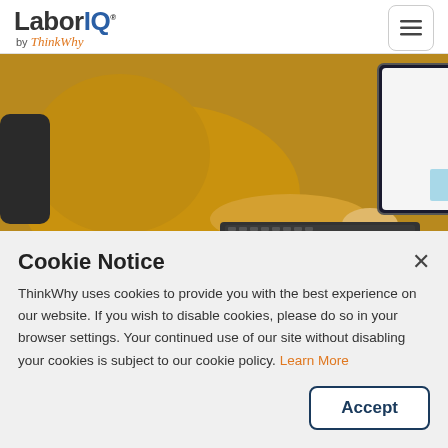LaborIQ by ThinkWhy
[Figure (photo): Person in mustard/yellow sweater sitting at a computer desk with a monitor displaying a dashboard with charts. A light blue sticky note is on the monitor stand.]
A Handy Compensation Benchmarking Template
Cookie Notice
ThinkWhy uses cookies to provide you with the best experience on our website. If you wish to disable cookies, please do so in your browser settings. Your continued use of our site without disabling your cookies is subject to our cookie policy. Learn More